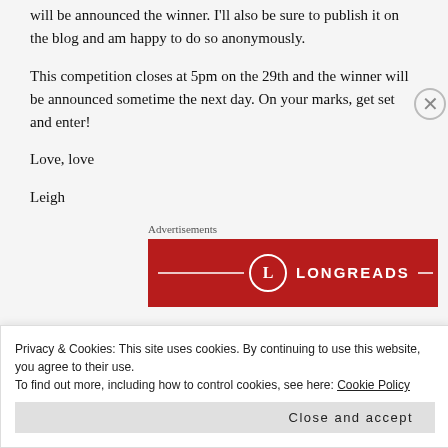will be announced the winner. I'll also be sure to publish it on the blog and am happy to do so anonymously.
This competition closes at 5pm on the 29th and the winner will be announced sometime the next day. On your marks, get set and enter!
Love, love
Leigh
Advertisements
[Figure (logo): Longreads advertisement banner — dark red background with the Longreads logo (circle with L) and text LONGREADS in white, flanked by decorative lines.]
Privacy & Cookies: This site uses cookies. By continuing to use this website, you agree to their use.
To find out more, including how to control cookies, see here: Cookie Policy
Close and accept